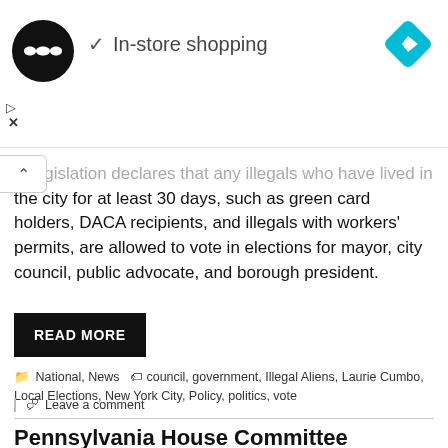[Figure (screenshot): Ad banner with circular black logo with infinity-like symbol, checkmark and 'In-store shopping' text, cyan navigation diamond icon on right, collapse chevron and X close buttons on left side]
legislation declares that any illegals who have lived in the city for at least 30 days, such as green card holders, DACA recipients, and illegals with workers' permits, are allowed to vote in elections for mayor, city council, public advocate, and borough president.
READ MORE
National, News   council, government, Illegal Aliens, Laurie Cumbo, Local Elections, New York City, Policy, politics, vote
Leave a comment
Pennsylvania House Committee Releases Public-Drawn Congressional Redistricting Map